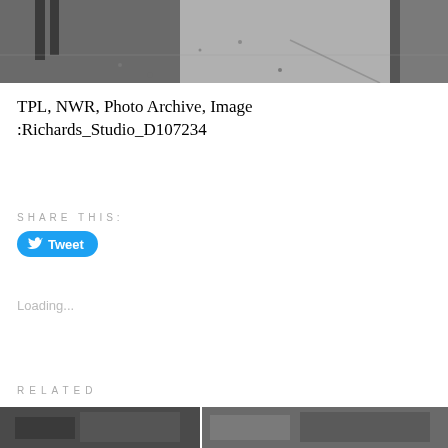[Figure (photo): Black and white street photo showing a sidewalk/pavement scene, partial view of people's legs and a pole, with litter on the ground]
TPL, NWR, Photo Archive, Image :Richards_Studio_D107234
SHARE THIS:
[Figure (screenshot): Tweet button with Twitter bird icon]
Loading...
RELATED
[Figure (photo): Two related black and white photos shown at the bottom of the page]